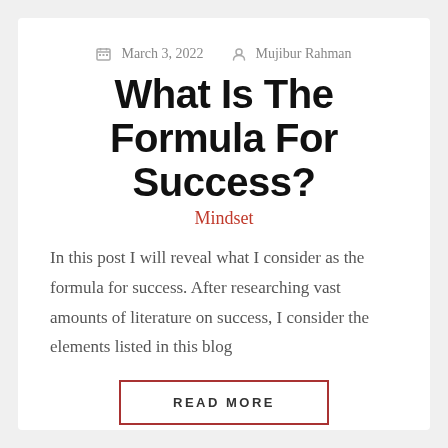March 3, 2022   Mujibur Rahman
What Is The Formula For Success?
Mindset
In this post I will reveal what I consider as the formula for success. After researching vast amounts of literature on success, I consider the elements listed in this blog
READ MORE